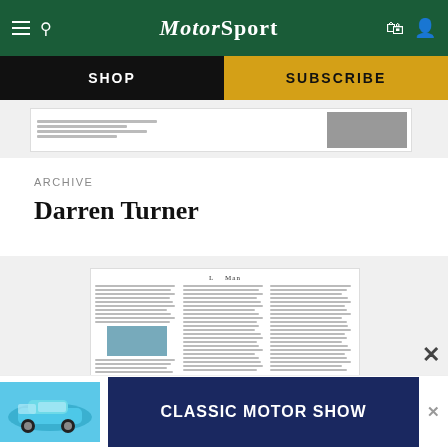Motor Sport
SHOP
SUBSCRIBE
[Figure (screenshot): Thumbnail of a Motor Sport magazine article page]
ARCHIVE
Darren Turner
[Figure (screenshot): Motor Sport magazine archive article thumbnail showing a multi-column text article with a small car race photo]
[Figure (infographic): Classic Motor Show advertisement banner with a blue Porsche 911 and dark blue text reading CLASSIC MOTOR SHOW]